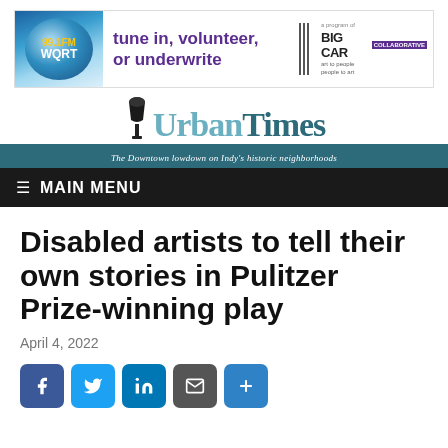[Figure (other): Banner advertisement: 99.1FM WQRT radio logo on left, purple text 'tune in, volunteer, or underwrite' in middle, vertical divider lines, Big Car Collaborative logo on right]
[Figure (logo): Urban Times newspaper logo with lamp post icon, text 'UrbanTimes' in teal/dark teal serif font, tagline bar reading 'The Downtown lowdown on Indy's historic neighborhoods']
≡  MAIN MENU
Disabled artists to tell their own stories in Pulitzer Prize-winning play
April 4, 2022
[Figure (other): Social share buttons row: Facebook (blue), Twitter (light blue), LinkedIn (blue), Email (dark gray), Share/plus (blue)]